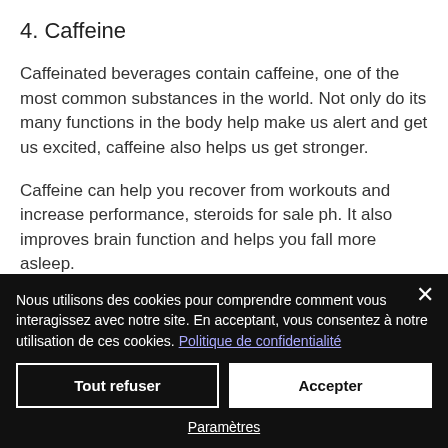4. Caffeine
Caffeinated beverages contain caffeine, one of the most common substances in the world. Not only do its many functions in the body help make us alert and get us excited, caffeine also helps us get stronger.
Caffeine can help you recover from workouts and increase performance, steroids for sale ph. It also improves brain function and helps you fall more asleep.
Nous utilisons des cookies pour comprendre comment vous interagissez avec notre site. En acceptant, vous consentez à notre utilisation de ces cookies. Politique de confidentialité
Tout refuser
Accepter
Paramètres